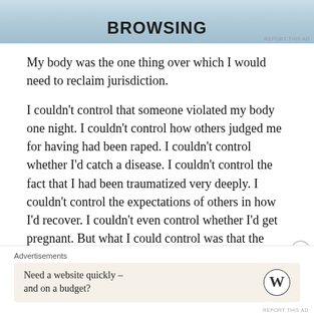[Figure (screenshot): Advertisement banner with text 'BROWSING' in bold uppercase letters on a blue-grey gradient background]
My body was the one thing over which I would need to reclaim jurisdiction.
I couldn't control that someone violated my body one night. I couldn't control how others judged me for having had been raped. I couldn't control whether I'd catch a disease. I couldn't control the fact that I had been traumatized very deeply. I couldn't control the expectations of others in how I'd recover. I couldn't even control whether I'd get pregnant. But what I could control was that the decision to go through with the pregnancy was mine,
[Figure (screenshot): WordPress advertisement: 'Need a website quickly – and on a budget?' with WordPress logo]